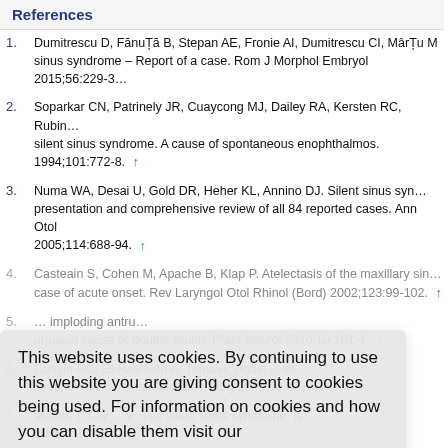References
Dumitrescu D, FănuȚă B, Stepan AE, Fronie AI, Dumitrescu CI, MârȚu M... sinus syndrome – Report of a case. Rom J Morphol Embryol 2015;56:229-37.
Soparkar CN, Patrinely JR, Cuaycong MJ, Dailey RA, Kersten RC, Rubin... silent sinus syndrome. A cause of spontaneous enophthalmos. 1994;101:772-8.
Numa WA, Desai U, Gold DR, Heher KL, Annino DJ. Silent sinus syn... presentation and comprehensive review of all 84 reported cases. Ann Otol 2005;114:688-94.
Casteain S, Cohen M, Apache B, Klap P. Atelectasis of the maxillary sin... case of acute onset. Rev Laryngol Otol Rhinol (Bord) 2002;123:99-102.
... imploding antrum... unusual cause of double vision. Pract Neurol 2010;10:101-4.
Cousin GC, El-Rasheed A, Toma A, Uddin J, et... syndrome. Br J Oral Maxillofac Surg 2012;50:e81-5.
Monos T, Lav... M. The silent sinus syndrome. Is 2005;7:333-5.
Rose GF, Sandy C, Hallborg J, Moseley I. Clinical and radiologic char...
This website uses cookies. By continuing to use this website you are giving consent to cookies being used. For information on cookies and how you can disable them visit our Privacy and Cookie Policy. [AGREE & PROCEED]